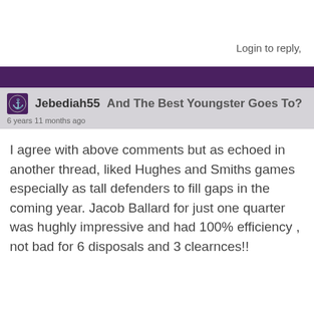Login to reply,
Jebediah55   And The Best Youngster Goes To?
6 years 11 months ago
I agree with above comments but as echoed in another thread, liked Hughes and Smiths games especially as tall defenders to fill gaps in the coming year. Jacob Ballard for just one quarter was hughly impressive and had 100% efficiency , not bad for 6 disposals and 3 clearnces!!